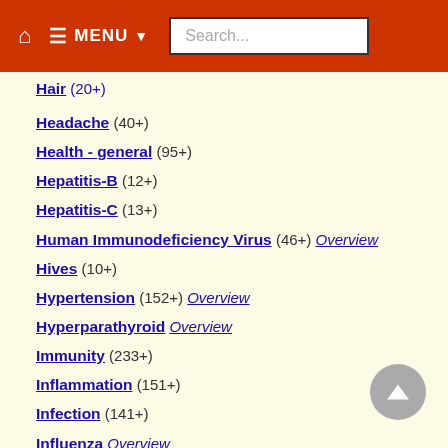🏠 ≡ MENU ▼  Search...
Hair (20+)
Headache (40+)
Health - general (95+)
Hepatitis-B (12+)
Hepatitis-C (13+)
Human Immunodeficiency Virus (46+) Overview
Hives (10+)
Hypertension (152+) Overview
Hyperparathyroid Overview
Immunity (233+)
Inflammation (151+)
Infection (141+)
Influenza Overview